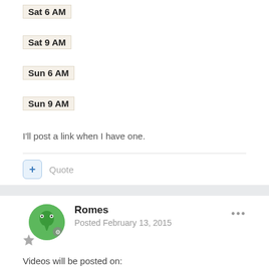Sat 6 AM
Sat 9 AM
Sun 6 AM
Sun 9 AM
I'll post a link when I have one.
+ Quote
Romes
Posted February 13, 2015
Videos will be posted on: